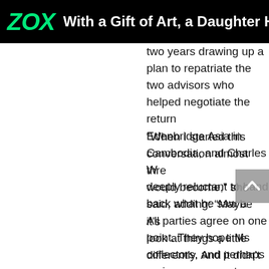ZOX — With a Gift of Art, a Daughter H
two years drawing up a plan to repatriate the two advisors who helped negotiate the return Edenbridge Asia in Cambodia, and Charles W deeply reluctant to hand back what he saw a
“When I started this conversation almost thre would become,” she said, adding: “Maybe it’s look at things a little differently. And it didn’t c just a part of the collection when it should be collection.’”
All parties agree on one point. They hope Ms collectors, and perhaps major museums, to r native soil.
“When we started this effort three years ago t